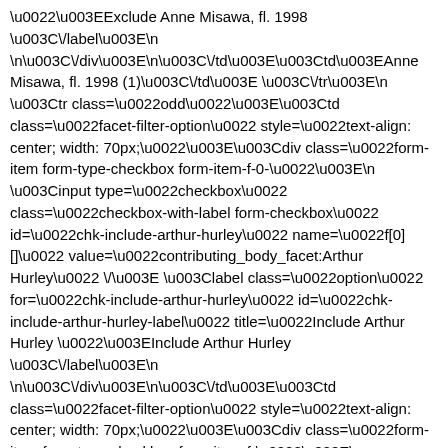\u0022\u003EExclude Anne Misawa, fl. 1998 \u003C\/label\u003E\n \n\u003C\/div\u003E\n\u003C\/td\u003E\u003Ctd\u003EAnne Misawa, fl. 1998 (1)\u003C\/td\u003E \u003C\/tr\u003E\n \u003Ctr class=\u0022odd\u0022\u003E\u003Ctd class=\u0022facet-filter-option\u0022 style=\u0022text-align: center; width: 70px;\u0022\u003E\u003Cdiv class=\u0022form-item form-type-checkbox form-item-f-0-\u0022\u003E\n \u003Cinput type=\u0022checkbox\u0022 class=\u0022checkbox-with-label form-checkbox\u0022 id=\u0022chk-include-arthur-hurley\u0022 name=\u0022f[0][]\u0022 value=\u0022contributing_body_facet:Arthur Hurley\u0022 \/\u003E \u003Clabel class=\u0022option\u0022 for=\u0022chk-include-arthur-hurley\u0022 id=\u0022chk-include-arthur-hurley-label\u0022 title=\u0022Include Arthur Hurley \u0022\u003EInclude Arthur Hurley \u003C\/label\u003E\n \n\u003C\/div\u003E\n\u003C\/td\u003E\u003Ctd class=\u0022facet-filter-option\u0022 style=\u0022text-align: center; width: 70px;\u0022\u003E\u003Cdiv class=\u0022form-item form-type-checkbox form-item-f-\u0022\u003E\n \u003Cinput type=\u0022checkbox\u0022 class=\u0022checkbox-with-label form-checkbox\u0022 id=\u0022chk-exclude-arthur-hurley\u0022 name=\u0022f[]\u0022 value=\u0022contributing_body_facet:Arthur Hurley\u0022 \/\u003E \u003Clabel class=\u0022option\u0022 for=\u0022chk-exclude-arthur-hurley\u0022 id=\u0022chk-exclude-arthur-hurley-